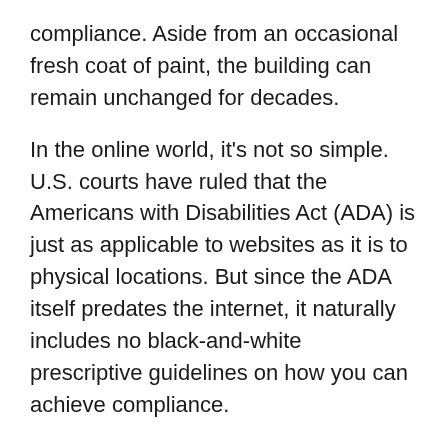compliance. Aside from an occasional fresh coat of paint, the building can remain unchanged for decades.
In the online world, it's not so simple. U.S. courts have ruled that the Americans with Disabilities Act (ADA) is just as applicable to websites as it is to physical locations. But since the ADA itself predates the internet, it naturally includes no black-and-white prescriptive guidelines on how you can achieve compliance.
Conventional wisdom is to fall back on the international WCAG standard, which provides a long list of success criteria for website accessibility. However, the WCAG standard is